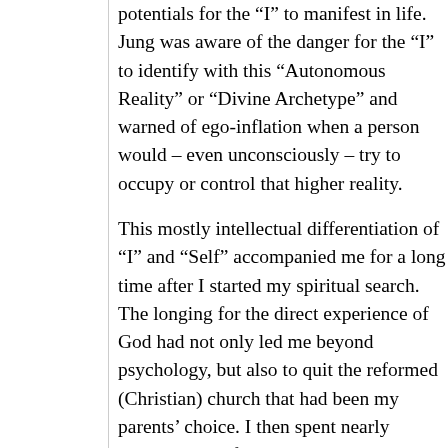potentials for the “I” to manifest in life. Jung was aware of the danger for the “I” to identify with this “Autonomous Reality” or “Divine Archetype” and warned of ego-inflation when a person would – even unconsciously – try to occupy or control that higher reality.
This mostly intellectual differentiation of “I” and “Self” accompanied me for a long time after I started my spiritual search. The longing for the direct experience of God had not only led me beyond psychology, but also to quit the reformed (Christian) church that had been my parents’ choice. I then spent nearly twenty years of practicing Zazen, Tao Yoga and Kashmir Shivaism and went through many dis-illusions, having mis-taken the impermanent for the eternal, until finally grace took over.